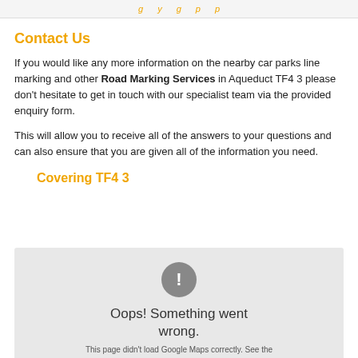g y g p p
Contact Us
If you would like any more information on the nearby car parks line marking and other Road Marking Services in Aqueduct TF4 3 please don't hesitate to get in touch with our specialist team via the provided enquiry form.
This will allow you to receive all of the answers to your questions and can also ensure that you are given all of the information you need.
Covering TF4 3
[Figure (screenshot): Google Maps error display showing a grey circle with exclamation mark, text 'Oops! Something went wrong.' and partial text 'This page didn't load Google Maps correctly. See the']